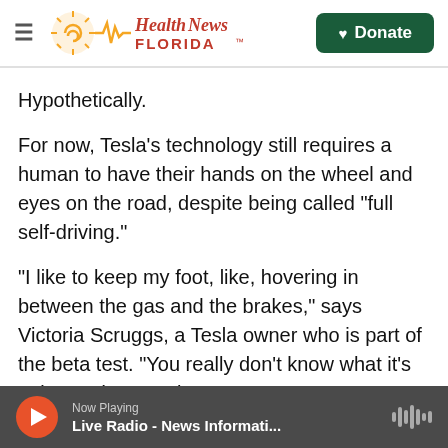Health News Florida — Donate
Hypothetically.
For now, Tesla's technology still requires a human to have their hands on the wheel and eyes on the road, despite being called "full self-driving."
"I like to keep my foot, like, hovering in between the gas and the brakes," says Victoria Scruggs, a Tesla owner who is part of the beta test. "You really don't know what it's going to do sometimes."
In a recent test drive with Scruggs, her Model 3 drove perfectly reasonably through some
Now Playing — Live Radio - News Informati...